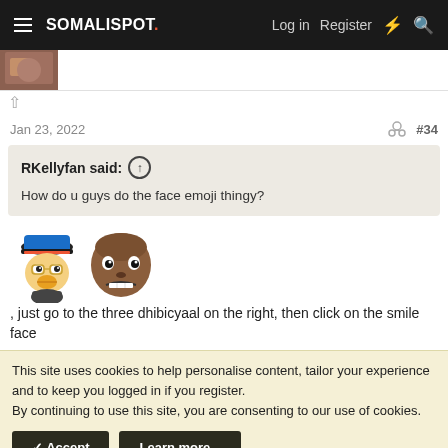SOMALISPOT. Log in  Register
Jan 23, 2022  #34
RKellyfan said: ↑
How do u guys do the face emoji thingy?
, just go to the three dhibicyaal on the right, then click on the smile face
This site uses cookies to help personalise content, tailor your experience and to keep you logged in if you register.
By continuing to use this site, you are consenting to our use of cookies.